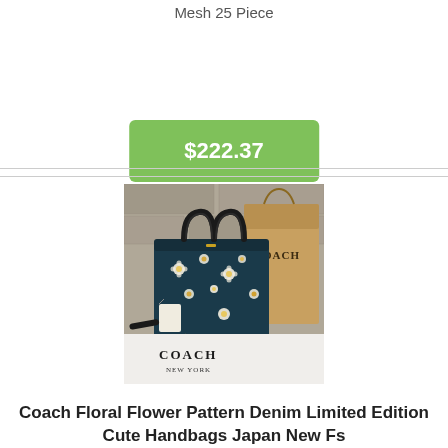Mesh 25 Piece
$222.37
[Figure (photo): Coach floral flower pattern denim handbag with navy blue background and white/yellow floral print, sitting on a white Coach dust bag next to a brown Coach shopping bag]
Coach Floral Flower Pattern Denim Limited Edition Cute Handbags Japan New Fs